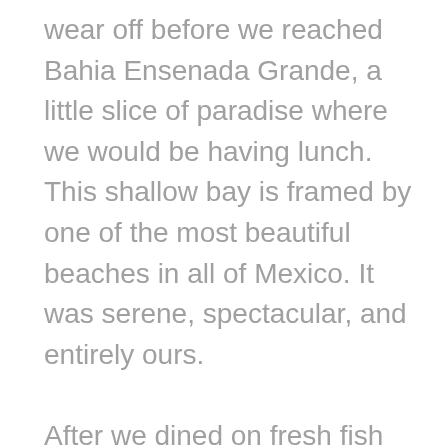wear off before we reached Bahia Ensenada Grande, a little slice of paradise where we would be having lunch. This shallow bay is framed by one of the most beautiful beaches in all of Mexico. It was serene, spectacular, and entirely ours.

After we dined on fresh fish expertly prepared on a simple propane grill by FunBaja's talented chef, I decided I absolutely had to get out on the water. The kayaks looked fun but the stand-up